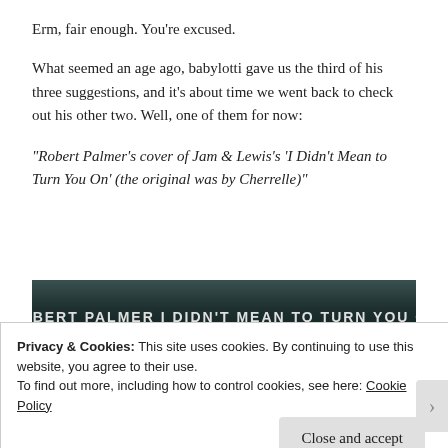Erm, fair enough. You're excused.
What seemed an age ago, babylotti gave us the third of his three suggestions, and it's about time we went back to check out his other two. Well, one of them for now:
"Robert Palmer's cover of Jam & Lewis's 'I Didn't Mean to Turn You On' (the original was by Cherrelle)"
[Figure (photo): Album/single cover showing text: ROBERT PALMER    I DIDN'T MEAN TO TURN YOU ON on a dark background]
Privacy & Cookies: This site uses cookies. By continuing to use this website, you agree to their use.
To find out more, including how to control cookies, see here: Cookie Policy
Close and accept